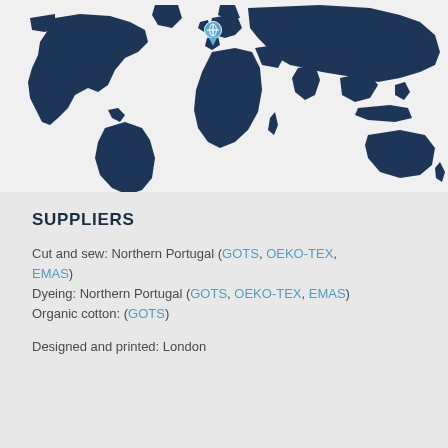[Figure (map): World map in dark navy blue showing continents. A location pin marker is placed over Western Europe (Portugal area). The map shows all major continents against a light background.]
SUPPLIERS
Cut and sew: Northern Portugal (GOTS, OEKO-TEX, EMAS)
Dyeing: Northern Portugal (GOTS, OEKO-TEX, EMAS)
Organic cotton: (GOTS)
Designed and printed: London